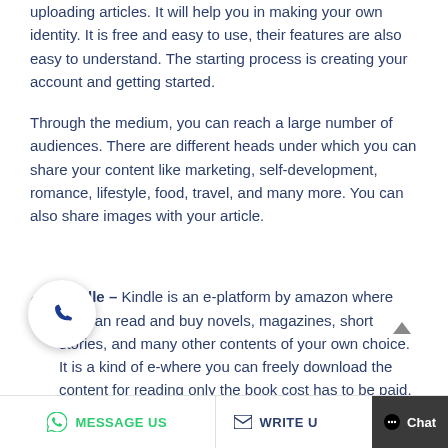uploading articles. It will help you in making your own identity. It is free and easy to use, their features are also easy to understand. The starting process is creating your account and getting started.
Through the medium, you can reach a large number of audiences. There are different heads under which you can share your content like marketing, self-development, romance, lifestyle, food, travel, and many more. You can also share images with your article.
Kindle – Kindle is an e-platform by amazon where you can read and buy novels, magazines, short stories, and many other contents of your own choice. It is a kind of e-where you can freely download the content for reading only the book cost has to be paid.
MESSAGE US   WRITE U   Chat